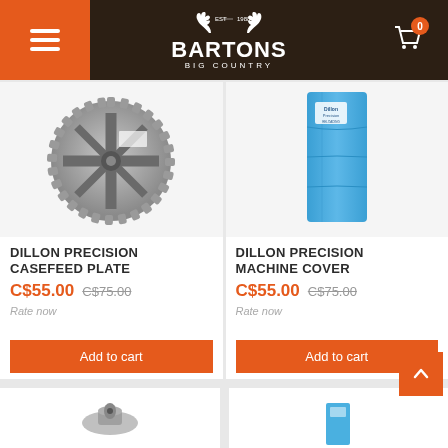[Figure (screenshot): Bartons Big Country e-commerce website header with orange hamburger menu on left, dark brown background with antler logo and BARTONS BIG COUNTRY text in center, shopping cart icon with 0 badge on right]
[Figure (photo): Dillon Precision Casefeed Plate - grey circular gear/sprocket shaped plate product photo]
DILLON PRECISION CASEFEED PLATE
C$55.00  C$75.00
Rate now
Add to cart
[Figure (photo): Dillon Precision Machine Cover - blue rectangular fabric cover product photo]
DILLON PRECISION MACHINE COVER
C$55.00  C$75.00
Rate now
Add to cart